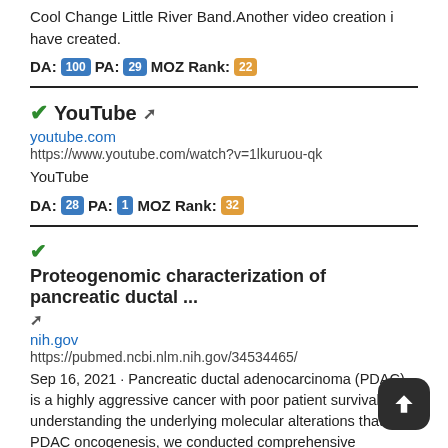Cool Change Little River Band.Another video creation i have created.
DA: 100 PA: 29 MOZ Rank: 22
✔YouTube 🔗
youtube.com
https://www.youtube.com/watch?v=1lkuruou-qk
YouTube
DA: 28 PA: 1 MOZ Rank: 32
✔Proteogenomic characterization of pancreatic ductal ... 🔗
nih.gov
https://pubmed.ncbi.nlm.nih.gov/34534465/
Sep 16, 2021 · Pancreatic ductal adenocarcinoma (PDAC) is a highly aggressive cancer with poor patient survival. To understanding the underlying molecular alterations that PDAC oncogenesis, we conducted comprehensive proteogenomic analysis of 140 pancreatic cancers, 67